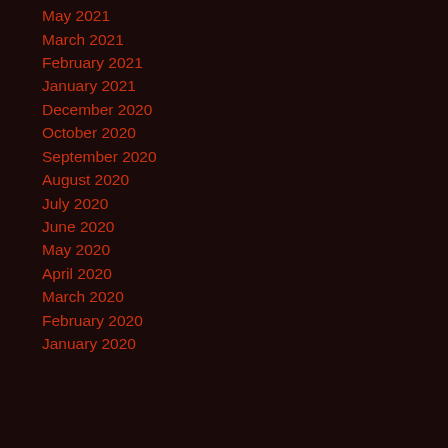May 2021
March 2021
February 2021
January 2021
December 2020
October 2020
September 2020
August 2020
July 2020
June 2020
May 2020
April 2020
March 2020
February 2020
January 2020